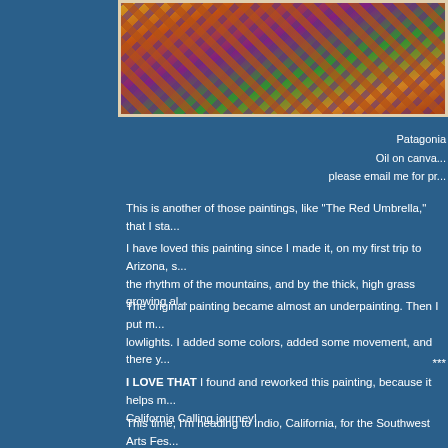[Figure (photo): A horizontal strip of an oil painting showing mountains, colorful foliage with reds, purples, yellows and greens, with thick brushwork suggesting grass and vegetation.]
Patagonia
Oil on canva...
please email me for pr...
This is another of those paintings, like "The Red Umbrella," that I sta...
I have loved this painting since I made it, on my first trip to Arizona, s... the rhythm of the mountains, and by the thick, high grass growing al...
The original painting became almost an underpainting. Then I put m... lowlights. I added some colors, added some movement, and there y...
***
I LOVE THAT I found and reworked this painting, because it helps m... California Calling journey!
This time, I'm heading to Indio, California, for the Southwest Arts Fes... and so I'm thrilled to have gotten in. And I've never been to Californi...